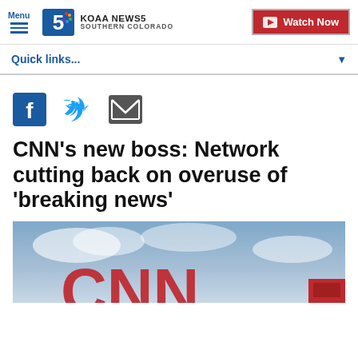Menu | KOAA NEWS5 SOUTHERN COLORADO | Watch Now
Quick links...
[Figure (infographic): Social share icons: Facebook, Twitter, Email]
CNN's new boss: Network cutting back on overuse of 'breaking news'
[Figure (photo): CNN logo photo with blue sky background, partial red CNN letters visible]